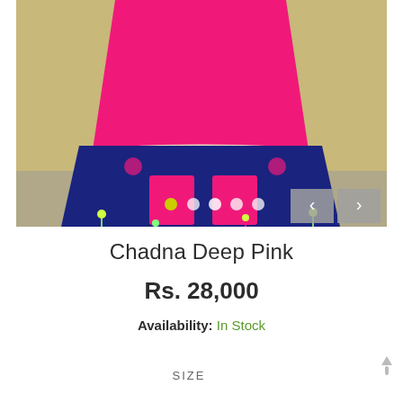[Figure (photo): Product photo of Chadna Deep Pink garment — a woman wearing a hot pink and navy blue outfit with tassels, standing against a beige/tan wall. Navigation arrows and carousel dots are visible.]
Chadna Deep Pink
Rs. 28,000
Availability: In Stock
SIZE